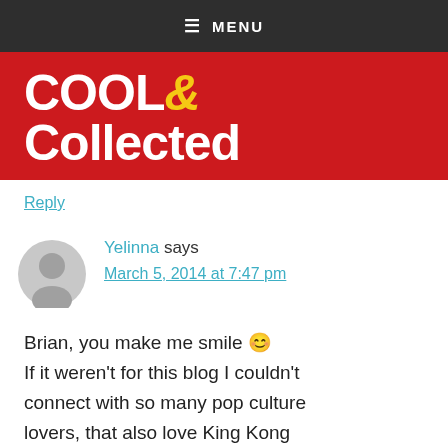≡ MENU
[Figure (logo): Cool & Collected blog logo — white bold text on red background]
Reply
Yelinna says
March 5, 2014 at 7:47 pm
Brian, you make me smile 😀 If it weren't for this blog I couldn't connect with so many pop culture lovers, that also love King Kong